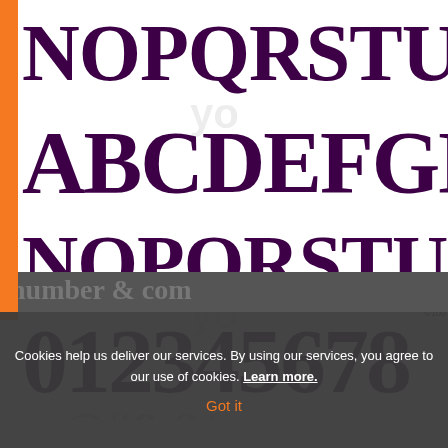[Figure (illustration): Font specimen sheet showing decorative serif/western-style uppercase letters and numerals in dark purple on white background. Row 1: NOPQRSTUVW, Row 2: ABCDEFGHIJ (larger), Row 3: NOPQRSTUVW, Row 4: 012345678. Orange vertical bar on left edge. Watermark/logo marks scattered across. Cookie consent overlay at bottom.]
Cookies help us deliver our services. By using our services, you agree to our use of cookies. Learn more.
Got it